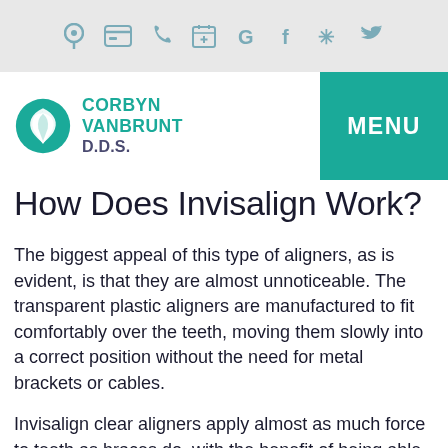[nav icons: location, card, phone, calendar, Google, Facebook, Yelp, Twitter]
[Figure (logo): Corbyn VanBrunt D.D.S. logo with teal leaf/tooth icon]
How Does Invisalign Work?
The biggest appeal of this type of aligners, as is evident, is that they are almost unnoticeable. The transparent plastic aligners are manufactured to fit comfortably over the teeth, moving them slowly into a correct position without the need for metal brackets or cables.
Invisalign clear aligners apply almost as much force to teeth as braces do, with the benefit of being able to be removed when brushing your teeth. This makes oral hygiene easier, though